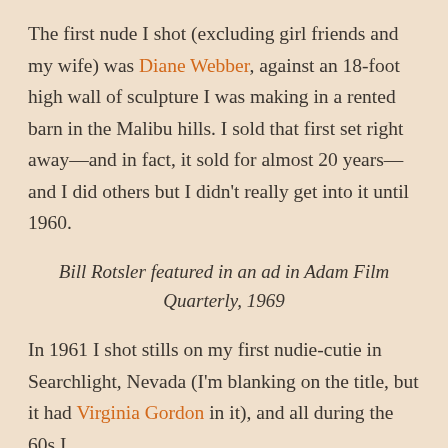The first nude I shot (excluding girl friends and my wife) was Diane Webber, against an 18-foot high wall of sculpture I was making in a rented barn in the Malibu hills. I sold that first set right away—and in fact, it sold for almost 20 years—and I did others but I didn't really get into it until 1960.
Bill Rotsler featured in an ad in Adam Film Quarterly, 1969
In 1961 I shot stills on my first nudie-cutie in Searchlight, Nevada (I'm blanking on the title, but it had Virginia Gordon in it), and all during the 60s I